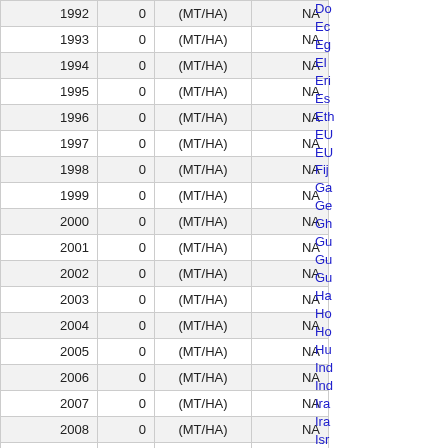| Year | Value | Unit | Status |
| --- | --- | --- | --- |
| 1992 | 0 | (MT/HA) | NA |
| 1993 | 0 | (MT/HA) | NA |
| 1994 | 0 | (MT/HA) | NA |
| 1995 | 0 | (MT/HA) | NA |
| 1996 | 0 | (MT/HA) | NA |
| 1997 | 0 | (MT/HA) | NA |
| 1998 | 0 | (MT/HA) | NA |
| 1999 | 0 | (MT/HA) | NA |
| 2000 | 0 | (MT/HA) | NA |
| 2001 | 0 | (MT/HA) | NA |
| 2002 | 0 | (MT/HA) | NA |
| 2003 | 0 | (MT/HA) | NA |
| 2004 | 0 | (MT/HA) | NA |
| 2005 | 0 | (MT/HA) | NA |
| 2006 | 0 | (MT/HA) | NA |
| 2007 | 0 | (MT/HA) | NA |
| 2008 | 0 | (MT/HA) | NA |
| 2009 | 0 | (MT/HA) | NA |
| 2010 | 0 | (MT/HA) | NA |
Do
Ec
Eg
El
Eri
Es
Eth
EU
EU
Fij
Ga
Ge
Gh
Gu
Gu
Gu
Ha
Ho
Ho
Hu
Ind
Ind
Ira
Ira
Isr